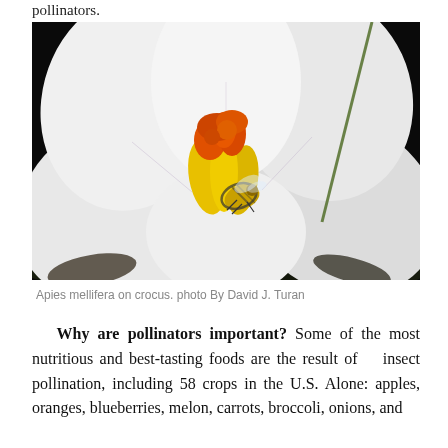pollinators.
[Figure (photo): Close-up photograph of a white crocus flower with orange and yellow stamens, with a honey bee (Apis mellifera) inside the flower, against a dark background.]
Apies mellifera on crocus. photo By David J. Turan
Why are pollinators important? Some of the most nutritious and best-tasting foods are the result of insect pollination, including 58 crops in the U.S. Alone: apples, oranges, blueberries, melon, carrots, broccoli, onions, and